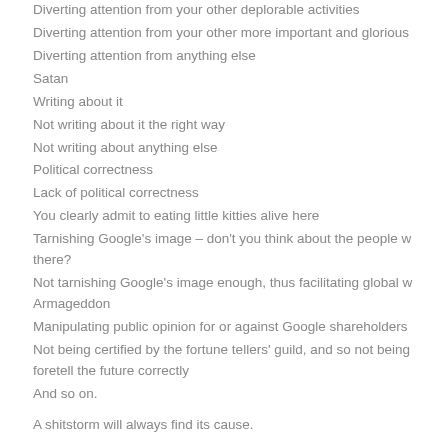Diverting attention from your other deplorable activities
Diverting attention from your other more important and glorious
Diverting attention from anything else
Satan
Writing about it
Not writing about it the right way
Not writing about anything else
Political correctness
Lack of political correctness
You clearly admit to eating little kitties alive here
Tarnishing Google's image – don't you think about the people w there?
Not tarnishing Google's image enough, thus facilitating global w Armageddon
Manipulating public opinion for or against Google shareholders
Not being certified by the fortune tellers' guild, and so not being foretell the future correctly
And so on.
A shitstorm will always find its cause.